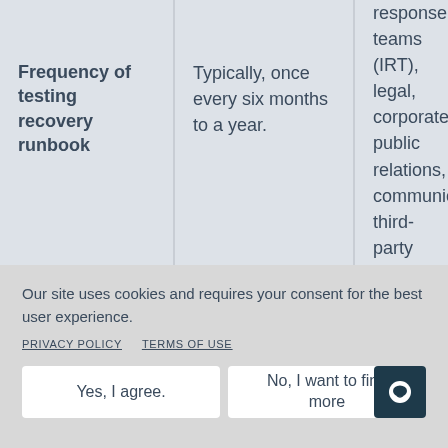|  |  |  |
| --- | --- | --- |
| Frequency of testing recovery runbook | Typically, once every six months to a year. | response teams (IRT), legal, corporate, public relations, communications, third-party insurance, and IT teams. These tabletop exercises help |
Our site uses cookies and requires your consent for the best user experience.
PRIVACY POLICY   TERMS OF USE
Yes, I agree.
No, I want to find more